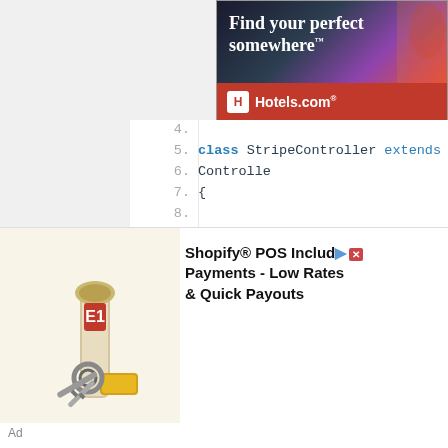[Figure (screenshot): Hotels.com advertisement banner: 'Find your perfect somewhere' with Hotels.com logo on red background]
[Figure (screenshot): Code editor showing PHP class StripeController extending Controller with index() method returning view('home'), and a docblock comment. Lines 4-19 visible.]
[Figure (screenshot): Bottom advertisement: Shopify POS Includ... Payments - Low Rates & Quick Payouts, with image of keys and flashlight. Ad label at bottom left.]